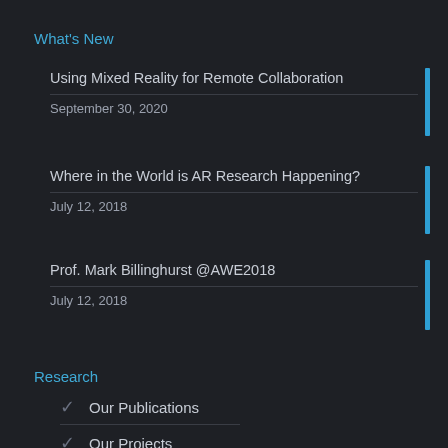What's New
Using Mixed Reality for Remote Collaboration
September 30, 2020
Where in the World is AR Research Happening?
July 12, 2018
Prof. Mark Billinghurst @AWE2018
July 12, 2018
Research
Our Publications
Our Projects
Related Videos
Image Gallery